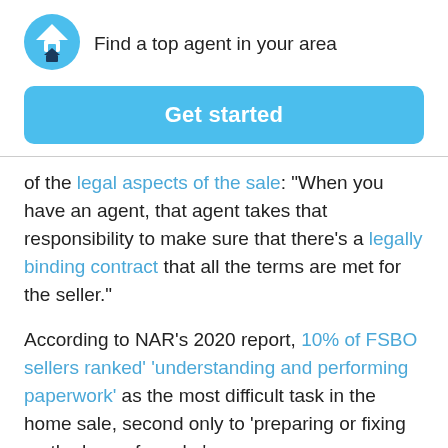[Figure (logo): Blue circular logo with house/chevron icon]
Find a top agent in your area
Get started
of the legal aspects of the sale: “When you have an agent, that agent takes that responsibility to make sure that there’s a legally binding contract that all the terms are met for the seller.”
According to NAR’s 2020 report, 10% of FSBO sellers ranked’ ‘understanding and performing paperwork’ as the most difficult task in the home sale, second only to ‘preparing or fixing up the home for sale.’